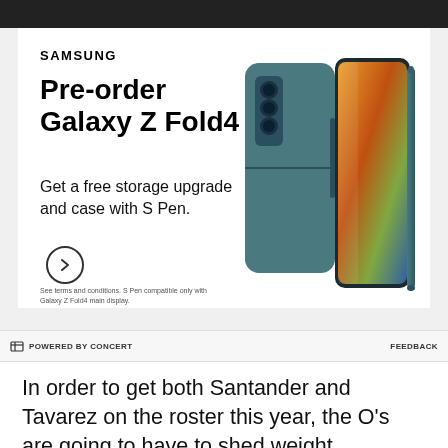[Figure (photo): Samsung advertisement for Galaxy Z Fold4. White background with Samsung logo, 'Pre-order Galaxy Z Fold4' headline, subtitle 'Get a free storage upgrade and case with S Pen.', a circular arrow button, fine print, and an image of a teal/green Galaxy Z Fold4 phone with S Pen.]
POWERED BY CONCERT    FEEDBACK
In order to get both Santander and Tavarez on the roster this year, the O's are going to have to shed weight elsewhere. The obvious candidate is Rickard.